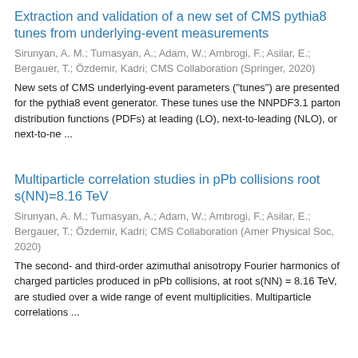Extraction and validation of a new set of CMS pythia8 tunes from underlying-event measurements
Sirunyan, A. M.; Tumasyan, A.; Adam, W.; Ambrogi, F.; Asilar, E.; Bergauer, T.; Özdemir, Kadri; CMS Collaboration (Springer, 2020)
New sets of CMS underlying-event parameters ("tunes") are presented for the pythia8 event generator. These tunes use the NNPDF3.1 parton distribution functions (PDFs) at leading (LO), next-to-leading (NLO), or next-to-ne ...
Multiparticle correlation studies in pPb collisions root s(NN)=8.16 TeV
Sirunyan, A. M.; Tumasyan, A.; Adam, W.; Ambrogi, F.; Asilar, E.; Bergauer, T.; Özdemir, Kadri; CMS Collaboration (Amer Physical Soc, 2020)
The second- and third-order azimuthal anisotropy Fourier harmonics of charged particles produced in pPb collisions, at root s(NN) = 8.16 TeV, are studied over a wide range of event multiplicities. Multiparticle correlations ...